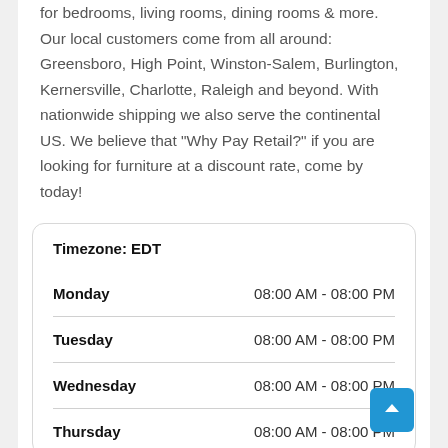for bedrooms, living rooms, dining rooms & more. Our local customers come from all around: Greensboro, High Point, Winston-Salem, Burlington, Kernersville, Charlotte, Raleigh and beyond. With nationwide shipping we also serve the continental US. We believe that "Why Pay Retail?" if you are looking for furniture at a discount rate, come by today!
| Day | Hours |
| --- | --- |
| Monday | 08:00 AM - 08:00 PM |
| Tuesday | 08:00 AM - 08:00 PM |
| Wednesday | 08:00 AM - 08:00 PM |
| Thursday | 08:00 AM - 08:00 PM |